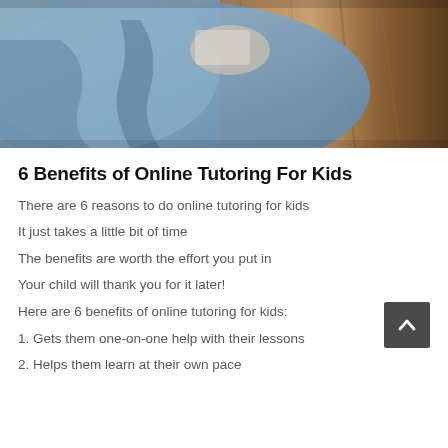[Figure (photo): Close-up photograph of a child reading or doing schoolwork, with blue fabric/clothing and a wooden surface visible in the background.]
6 Benefits of Online Tutoring For Kids
There are 6 reasons to do online tutoring for kids
It just takes a little bit of time
The benefits are worth the effort you put in
Your child will thank you for it later!
Here are 6 benefits of online tutoring for kids:
1. Gets them one-on-one help with their lessons
2. Helps them learn at their own pace